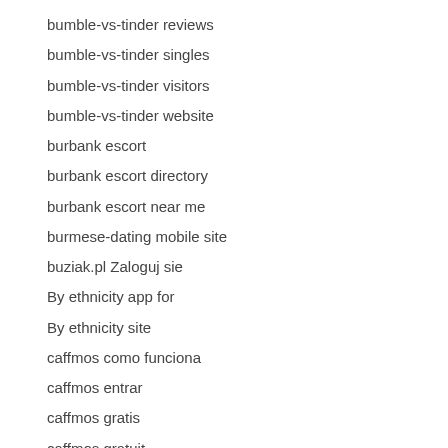bumble-vs-tinder reviews
bumble-vs-tinder singles
bumble-vs-tinder visitors
bumble-vs-tinder website
burbank escort
burbank escort directory
burbank escort near me
burmese-dating mobile site
buziak.pl Zaloguj sie
By ethnicity app for
By ethnicity site
caffmos como funciona
caffmos entrar
caffmos gratis
caffmos gratuit